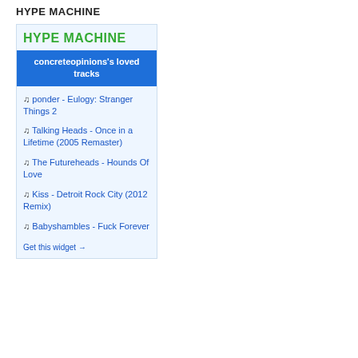HYPE MACHINE
[Figure (screenshot): Hype Machine widget showing concreteopinions's loved tracks, with green logo header, blue subtitle bar, and list of 5 music tracks in blue text, ending with a 'Get this widget →' link]
♫ ponder - Eulogy: Stranger Things 2
♫ Talking Heads - Once in a Lifetime (2005 Remaster)
♫ The Futureheads - Hounds Of Love
♫ Kiss - Detroit Rock City (2012 Remix)
♫ Babyshambles - Fuck Forever
Get this widget →